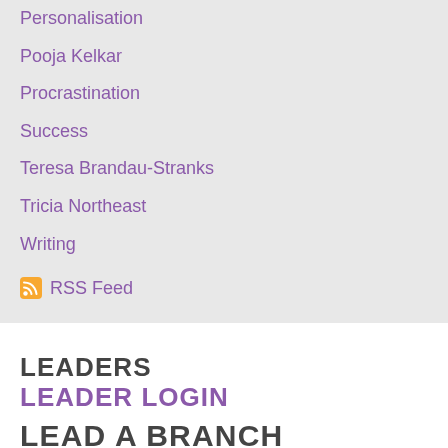Personalisation
Pooja Kelkar
Procrastination
Success
Teresa Brandau-Stranks
Tricia Northeast
Writing
RSS Feed
LEADERS
LEADER LOGIN
LEAD A BRANCH
LEGAL INFO
CONTACT OFFICE
Connect Her®